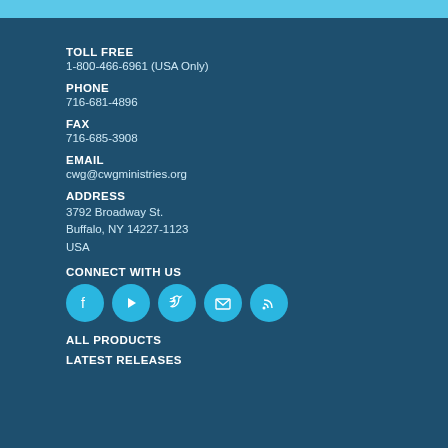TOLL FREE
1-800-466-6961 (USA Only)
PHONE
716-681-4896
FAX
716-685-3908
EMAIL
cwg@cwgministries.org
ADDRESS
3792 Broadway St.
Buffalo, NY 14227-1123
USA
CONNECT WITH US
[Figure (infographic): Five social media icon circles: Facebook, YouTube, Twitter, Email/envelope, RSS feed]
ALL PRODUCTS
LATEST RELEASES